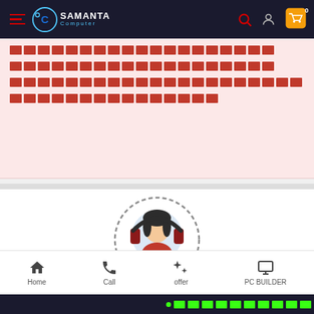Samanta Computer - header navigation bar
[Redacted Bengali/regional language text content - multiple lines of redacted script]
[Figure (illustration): Customer support agent illustration: woman with headset, circular dashed border, speech bubble element below]
Home | Call | offer | PC BUILDER